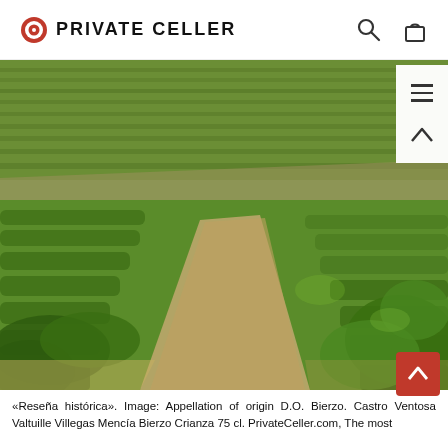PRIVATE CELLER
[Figure (photo): Photograph of a vineyard showing rows of grapevines in the Bierzo appellation of origin, with a dirt path running between the vines, green foliage, and terraced hillside vineyards in the background under a sunny sky.]
«Reseña histórica». Image: Appellation of origin D.O. Bierzo. Castro Ventosa Valtuille Villegas Mencía Bierzo Crianza 75 cl. PrivateCeller.com, The most